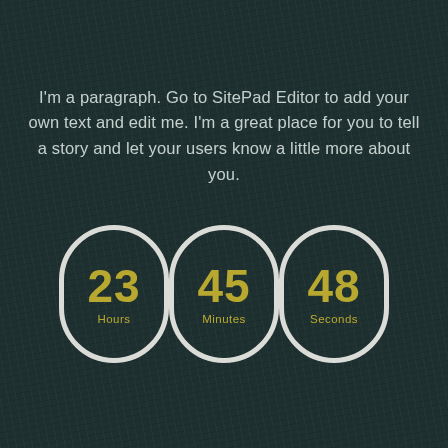I'm a paragraph. Go to SitePad Editor to add your own text and edit me. I'm a great place for you to tell a story and let your users know a little more about you.
[Figure (infographic): Countdown timer with three oval/pill-shaped outlines showing 23 Hours, 45 Minutes, 48 Seconds in yellow-gold text on dark textured background]